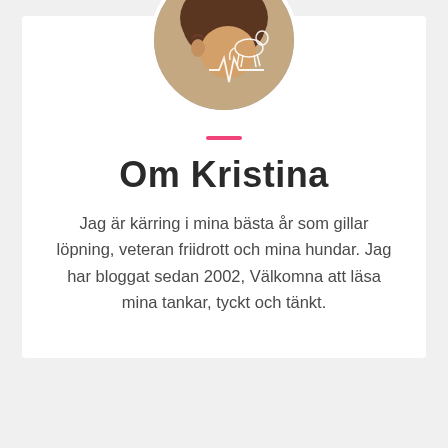[Figure (photo): Circular profile photo of a person seen from behind/side, with short brown hair and glasses, with a white illustrated horse and heartbeat line overlay]
Om Kristina
Jag är kärring i mina bästa år som gillar löpning, veteran friidrott och mina hundar. Jag har bloggat sedan 2002, Välkomna att läsa mina tankar, tyckt och tänkt.